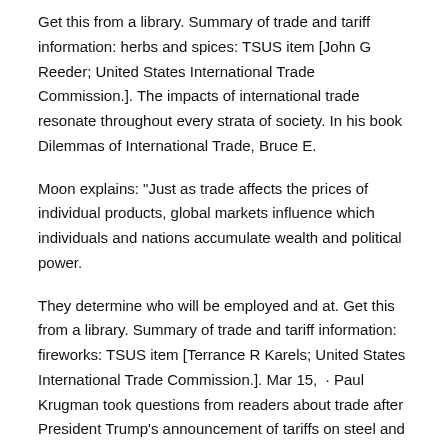Get this from a library. Summary of trade and tariff information: herbs and spices: TSUS item [John G Reeder; United States International Trade Commission.]. The impacts of international trade resonate throughout every strata of society. In his book Dilemmas of International Trade, Bruce E.
Moon explains: "Just as trade affects the prices of individual products, global markets influence which individuals and nations accumulate wealth and political power.
They determine who will be employed and at. Get this from a library. Summary of trade and tariff information: fireworks: TSUS item [Terrance R Karels; United States International Trade Commission.]. Mar 15,  · Paul Krugman took questions from readers about trade after President Trump's announcement of tariffs on steel and aluminum imports.
Here are his answers to some of the hundreds of questions he. WTO | International trade and tariff data. home; resources; statistics; databases. World Tariff Profiles.